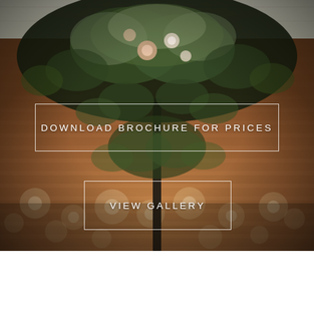[Figure (photo): Wedding floral arrangement photo showing a tall centerpiece with lush greenery, eucalyptus, and roses in blush/white tones, hanging over a warmly lit brick-walled venue with bokeh candle lights in the background]
DOWNLOAD BROCHURE FOR PRICES
VIEW GALLERY